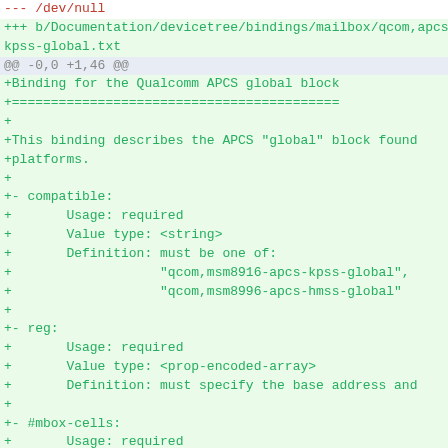--- /dev/null
+++ b/Documentation/devicetree/bindings/mailbox/qcom,apcs-kpss-global.txt
@@ -0,0 +1,46 @@
+Binding for the Qualcomm APCS global block
+==========================================
++
+This binding describes the APCS "global" block found
+platforms.
++
+- compatible:
+       Usage: required
+       Value type: <string>
+       Definition: must be one of:
+                   "qcom,msm8916-apcs-kpss-global",
+                   "qcom,msm8996-apcs-hmss-global"
++
+- reg:
+       Usage: required
+       Value type: <prop-encoded-array>
+       Definition: must specify the base address and
++
+- #mbox-cells:
+       Usage: required